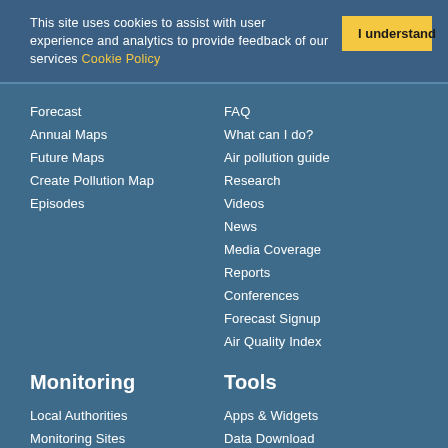This site uses cookies to assist with user experience and analytics to provide feedback of our services Cookie Policy
Forecast
FAQ
Annual Maps
What can I do?
Future Maps
Air pollution guide
Create Pollution Map
Research
Episodes
Videos
News
Media Coverage
Reports
Conferences
Forecast Signup
Air Quality Index
Monitoring
Tools
Local Authorities
Apps & Widgets
Monitoring Sites
Data Download
Latest Bulletin
Graph Plotting
Annual Limits
Data Feeds